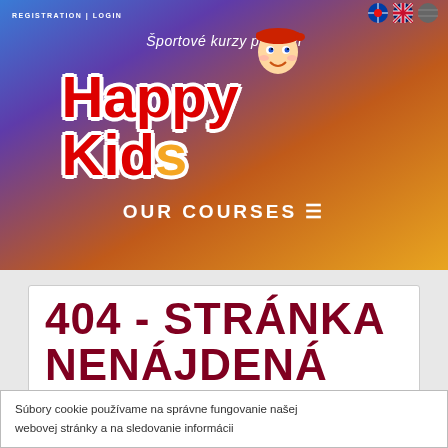REGISTRATION | LOGIN
[Figure (logo): Happy Kids logo with cartoon boy character wearing red cap, text 'Športové kurzy pre deti' above and 'Happy Kids' in large red letters below, on blue-to-orange gradient background with 'OUR COURSES' navigation bar]
404 - STRÁNKA NENÁJDENÁ
Súbory cookie používame na správne fungovanie našej webovej stránky a na sledovanie informácii